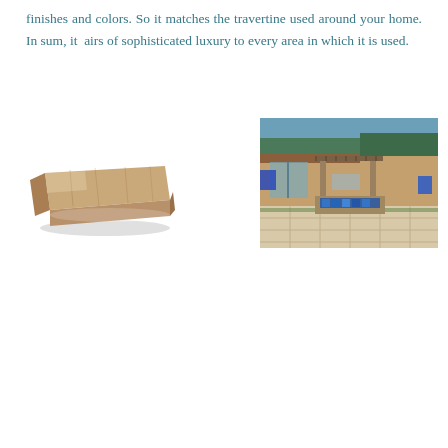finishes and colors. So it matches the travertine used around your home. In sum, it airs of sophisticated luxury to every area in which it is used.
[Figure (photo): A single travertine coping stone / pool coping piece, shown at an angle, with a tan/beige color and bullnose edge.]
[Figure (photo): An outdoor patio area with travertine tile flooring, a fire pit/water feature with blue glass, pergola columns, and outdoor furniture in the background.]